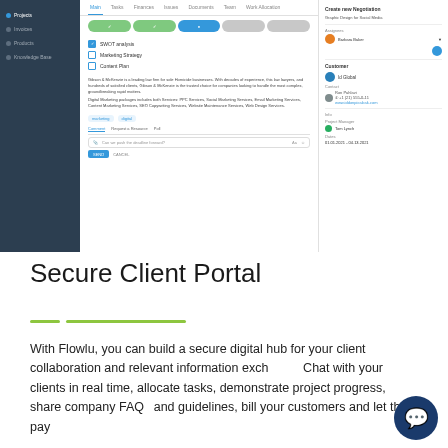[Figure (screenshot): Screenshot of Flowlu project management app showing a project detail view with sidebar navigation, tabs (Main, Tasks, Finances, Issues, Documents, Team, Work Allocation), progress steps, checklist items (SWOT analysis, Marketing Strategy, Content Plan), description text about Gibson & McKenzie law firm, tags (marketing, digital), comment section, and a right panel with assignee (Barbara Baker), customer (Id Global), contact info, and project info (Project Manager: Tom Lynch, Dates: 01.01.2021 - 04.13.2021).]
Secure Client Portal
With Flowlu, you can build a secure digital hub for your client collaboration and relevant information exchange. Chat with your clients in real time, allocate tasks, demonstrate project progress, share company FAQs and guidelines, bill your customers and let them pay